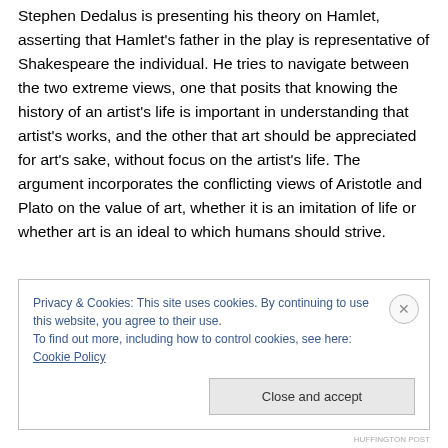Stephen Dedalus is presenting his theory on Hamlet, asserting that Hamlet's father in the play is representative of Shakespeare the individual. He tries to navigate between the two extreme views, one that posits that knowing the history of an artist's life is important in understanding that artist's works, and the other that art should be appreciated for art's sake, without focus on the artist's life. The argument incorporates the conflicting views of Aristotle and Plato on the value of art, whether it is an imitation of life or whether art is an ideal to which humans should strive.
Privacy & Cookies: This site uses cookies. By continuing to use this website, you agree to their use.
To find out more, including how to control cookies, see here: Cookie Policy